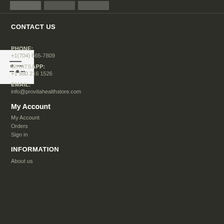[Figure (other): Three gray image/product thumbnail boxes in a row at the top of the page]
[Figure (other): Filter/sliders icon in a white box on the left side]
CONTACT US
PHONE:
+1(704) 665-7809
WHATSAPP:
+1 980 216 1526
EMAIL:
info@provitahealthstore.com
My Account
My Account
Orders
Sign in
INFORMATION
About us